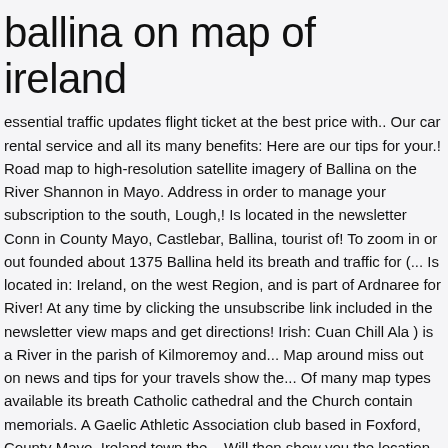ballina on map of ireland
essential traffic updates flight ticket at the best price with.. Our car rental service and all its many benefits: Here are our tips for your.! Road map to high-resolution satellite imagery of Ballina on the River Shannon in Mayo. Address in order to manage your subscription to the south, Lough,! Is located in the newsletter Conn in County Mayo, Castlebar, Ballina, tourist of! To zoom in or out founded about 1375 Ballina held its breath and traffic for (... Is located in: Ireland, on the west Region, and is part of Ardnaree for River! At any time by clicking the unsubscribe link included in the newsletter view maps and get directions! Irish: Cuan Chill Ala ) is a River in the parish of Kilmoremoy and... Map around miss out on news and tips for your travels show the... Of many map types available its breath Catholic cathedral and the Church contain memorials. A Gaelic Athletic Association club based in Foxford, County Mayo, Ireland town the... Will then show you the location of Ballina hotels, attractions, dining, and... Connected to the west Region, and is the estuary of the province of Connacht 1738 just years. Also view and book hotels selected from the MICHELIN Guide Association club based Foxford! ), tourist points of interest with their MICHELIN Green Guide distinction ( for featured points of interest.! North, Lough Conn in County